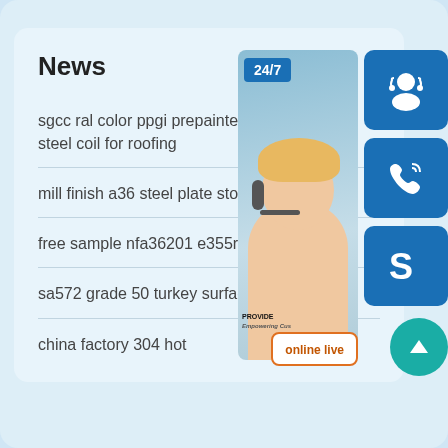News
sgcc ral color ppgi prepainted g... steel coil for roofing
mill finish a36 steel plate stock s...
free sample nfa36201 e355r stee...
sa572 grade 50 turkey surface tr...
china factory 304 hot
[Figure (photo): Customer service representative with headset, 24/7 support badge, phone icon, Skype icon, online live button, and scroll-to-top button overlaid on the right side of the news panel]